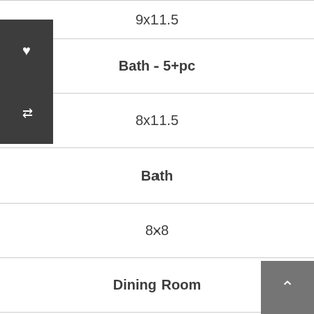9x11.5
Bath - 5+pc
8x11.5
Bath
8x8
Dining Room
11.5x11.5